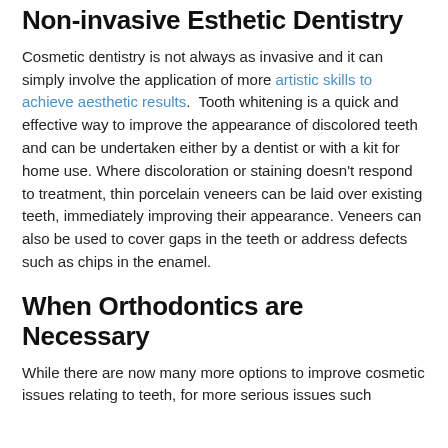Non-invasive Esthetic Dentistry
Cosmetic dentistry is not always as invasive and it can simply involve the application of more artistic skills to achieve aesthetic results.  Tooth whitening is a quick and effective way to improve the appearance of discolored teeth and can be undertaken either by a dentist or with a kit for home use. Where discoloration or staining doesn't respond to treatment, thin porcelain veneers can be laid over existing teeth, immediately improving their appearance. Veneers can also be used to cover gaps in the teeth or address defects such as chips in the enamel.
When Orthodontics are Necessary
While there are now many more options to improve cosmetic issues relating to teeth, for more serious issues such